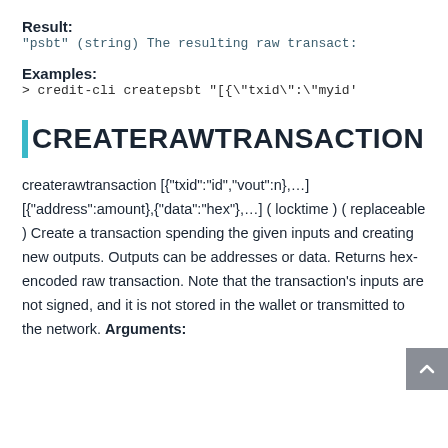Result:
"psbt" (string) The resulting raw transact:
Examples:
> credit-cli createpsbt "[{\"txid\":\"myid'
CREATERAWTRANSACTION
createrawtransaction [{"txid":"id","vout":n},…] [{"address":amount},{"data":"hex"},…] ( locktime ) ( replaceable ) Create a transaction spending the given inputs and creating new outputs. Outputs can be addresses or data. Returns hex-encoded raw transaction. Note that the transaction's inputs are not signed, and it is not stored in the wallet or transmitted to the network. Arguments: